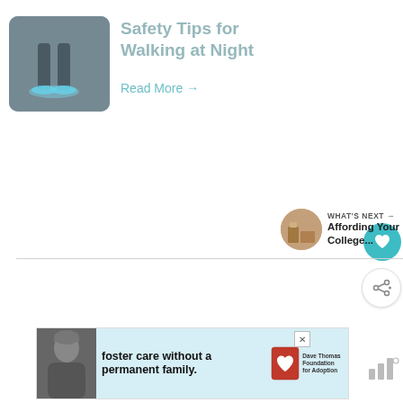[Figure (photo): Thumbnail image of feet/legs walking at night with blue glowing light on dark background]
Safety Tips for Walking at Night
Read More →
[Figure (illustration): Teal circle button with heart icon (favorite/like button)]
[Figure (illustration): White circle button with share icon]
[Figure (photo): What's Next thumbnail - circular image of room/furniture]
WHAT'S NEXT → Affording Your College...
[Figure (photo): Ad banner: foster care without a permanent family. Dave Thomas Foundation for Adoption.]
foster care without a permanent family.